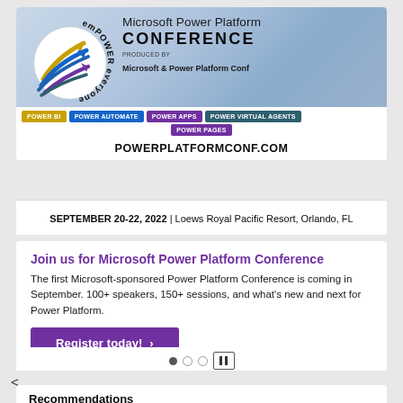[Figure (logo): Microsoft Power Platform Conference logo with emPOWER everyone circular text, arrows in yellow, blue, and purple on white background]
Microsoft Power Platform CONFERENCE
PRODUCED BY
Microsoft & Power Platform Conf
POWER BI | POWER AUTOMATE | POWER APPS | POWER VIRTUAL AGENTS | POWER PAGES
POWERPLATFORMCONF.COM
SEPTEMBER 20-22, 2022 | Loews Royal Pacific Resort, Orlando, FL
Join us for Microsoft Power Platform Conference
The first Microsoft-sponsored Power Platform Conference is coming in September. 100+ speakers, 150+ sessions, and what's new and next for Power Platform.
Register today! >
<
Recommendations